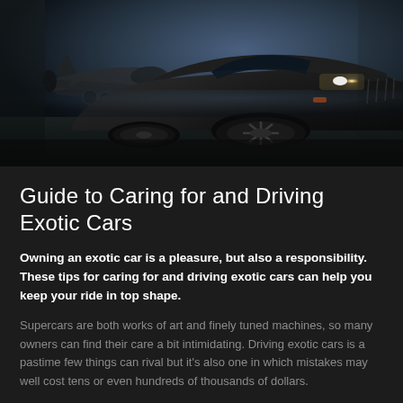[Figure (photo): Front low-angle view of a dark exotic sports car (Aston Martin) parked near a military jet aircraft on a tarmac, dusk lighting with headlights on]
Guide to Caring for and Driving Exotic Cars
Owning an exotic car is a pleasure, but also a responsibility. These tips for caring for and driving exotic cars can help you keep your ride in top shape.
Supercars are both works of art and finely tuned machines, so many owners can find their care a bit intimidating. Driving exotic cars is a pastime few things can rival but it's also one in which mistakes may well cost tens or even hundreds of thousands of dollars.
This is why today we've compiled a simple guide of actionable advice to help demystify the process of caring for one of these elite vehicles. We'll also go over some common errors you want...